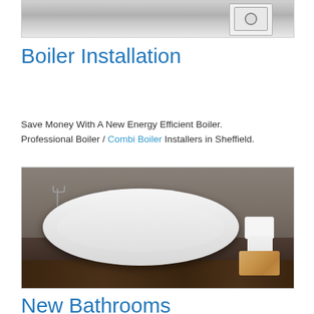[Figure (photo): Top portion of a boiler/heating unit installation photo, cropped at top of page]
Boiler Installation
Save Money With A New Energy Efficient Boiler. Professional Boiler / Combi Boiler Installers in Sheffield.
[Figure (photo): A modern freestanding oval white bathtub in a bathroom with dark wood flooring and grey walls, with toilet visible on the right side]
New Bathrooms